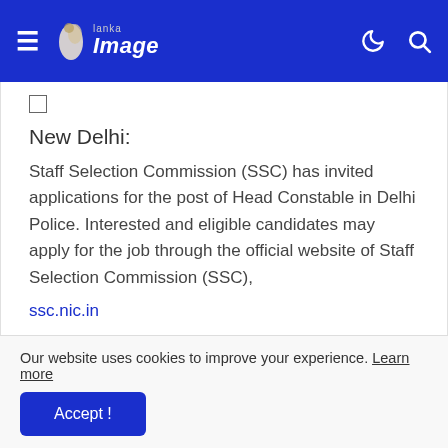Lanka Image
New Delhi:
Staff Selection Commission (SSC) has invited applications for the post of Head Constable in Delhi Police. Interested and eligible candidates may apply for the job through the official website of Staff Selection Commission (SSC),
ssc.nic.in
Our website uses cookies to improve your experience. Learn more
Accept !